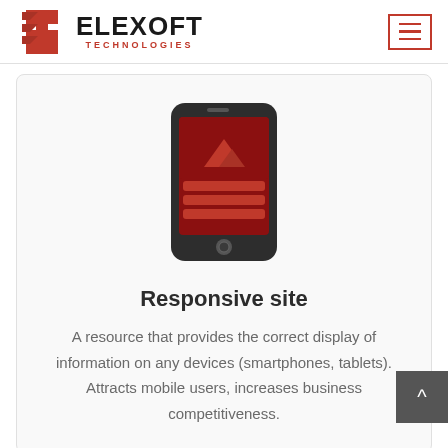[Figure (logo): Elexoft Technologies logo with red stylized 'E' icon and black ELEXOFT text with red TECHNOLOGIES subtitle]
[Figure (illustration): Red and dark smartphone/mobile device icon showing a mountain image and text lines on screen]
Responsive site
A resource that provides the correct display of information on any devices (smartphones, tablets). Attracts mobile users, increases business competitiveness.